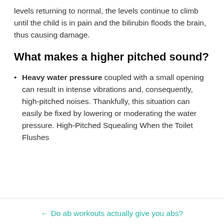levels returning to normal, the levels continue to climb until the child is in pain and the bilirubin floods the brain, thus causing damage.
What makes a higher pitched sound?
Heavy water pressure coupled with a small opening can result in intense vibrations and, consequently, high-pitched noises. Thankfully, this situation can easily be fixed by lowering or moderating the water pressure. High-Pitched Squealing When the Toilet Flushes
← Do ab workouts actually give you abs?